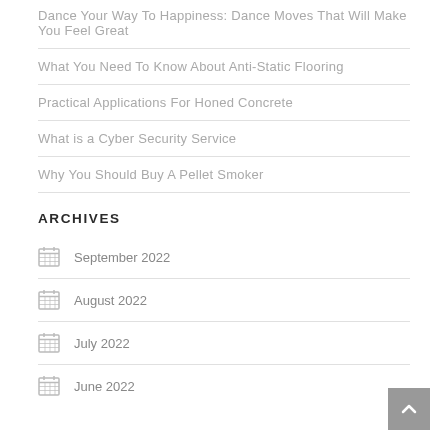Dance Your Way To Happiness: Dance Moves That Will Make You Feel Great
What You Need To Know About Anti-Static Flooring
Practical Applications For Honed Concrete
What is a Cyber Security Service
Why You Should Buy A Pellet Smoker
ARCHIVES
September 2022
August 2022
July 2022
June 2022